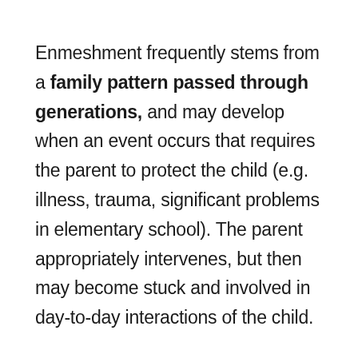Enmeshment frequently stems from a family pattern passed through generations, and may develop when an event occurs that requires the parent to protect the child (e.g. illness, trauma, significant problems in elementary school). The parent appropriately intervenes, but then may become stuck and involved in day-to-day interactions of the child.
Most often, enmeshment occurs between